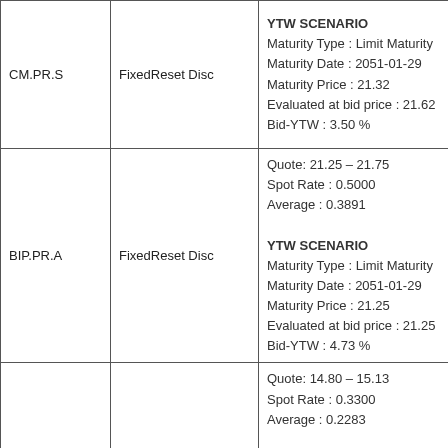| Ticker | Type | Details |
| --- | --- | --- |
| CM.PR.S | FixedReset Disc | YTW SCENARIO
Maturity Type : Limit Maturity
Maturity Date : 2051-01-29
Maturity Price : 21.32
Evaluated at bid price : 21.62
Bid-YTW : 3.50 % |
| BIP.PR.A | FixedReset Disc | Quote: 21.25 – 21.75
Spot Rate : 0.5000
Average : 0.3891
YTW SCENARIO
Maturity Type : Limit Maturity
Maturity Date : 2051-01-29
Maturity Price : 21.25
Evaluated at bid price : 21.25
Bid-YTW : 4.73 % |
| IFC.PR.A | FixedReset Ins Non | Quote: 14.80 – 15.13
Spot Rate : 0.3300
Average : 0.2283
YTW SCENARIO
Maturity Type : Limit Maturity
Maturity Date : 2051-01-29
Maturity Price : 14.80
Evaluated at bid price : 14.80 |